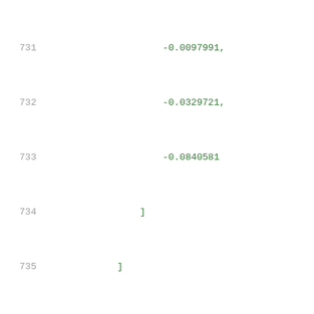Code listing lines 731-751: JSON data structure with line numbers. Lines show array values and object keys including related_pin, rise_power,power_outputs_1, index_1, and index_2 with numeric values.